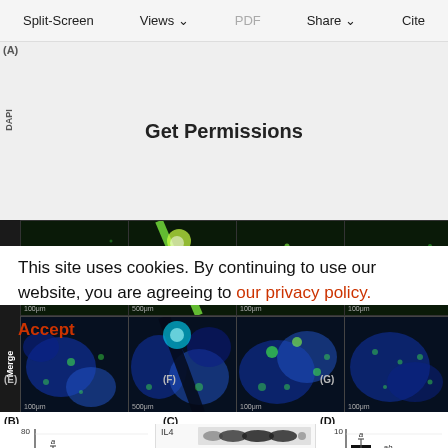Split-Screen | Views | PDF | Share | Cite
Get Permissions
[Figure (photo): Fluorescence microscopy images in a grid: top rows show DAPI (blue channel, partially obscured by permissions overlay) and TUNEL (green fluorescence) staining across 4 columns; bottom rows show Merge (TUNEL + DAPI overlay, green on blue) across 4 columns. Scale bars labeled 100µm and 500µm visible in several panels.]
(B)
(C)
(D)
[Figure (bar-chart): Bar chart showing number of apoptotic cells, with bars at approximately 55, 38, 26. Y-axis from 20 to 80. Bars labeled a, ab, abc.]
[Figure (photo): Western blot image showing bands for IL4, nephrin, podocin, p-Stat6, and GAPDH across multiple lanes.]
[Figure (bar-chart): Bar chart showing relative IL4 protein level, y-axis from 2 to 10. Bars at approximately 7.2, 6.0, 2.5. Bars labeled a, ab, abc.]
This site uses cookies. By continuing to use our website, you are agreeing to our privacy policy.
Accept